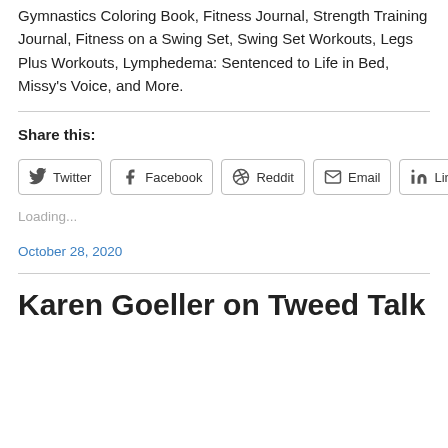Gymnastics Coloring Book, Fitness Journal, Strength Training Journal, Fitness on a Swing Set, Swing Set Workouts, Legs Plus Workouts, Lymphedema: Sentenced to Life in Bed, Missy’s Voice, and More.
Share this:
[Figure (other): Social share buttons: Twitter, Facebook, Reddit, Email, LinkedIn]
Loading...
October 28, 2020
Karen Goeller on Tweed Talk